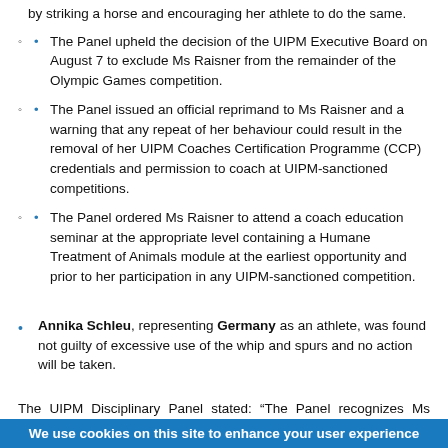by striking a horse and encouraging her athlete to do the same.
The Panel upheld the decision of the UIPM Executive Board on August 7 to exclude Ms Raisner from the remainder of the Olympic Games competition.
The Panel issued an official reprimand to Ms Raisner and a warning that any repeat of her behaviour could result in the removal of her UIPM Coaches Certification Programme (CCP) credentials and permission to coach at UIPM-sanctioned competitions.
The Panel ordered Ms Raisner to attend a coach education seminar at the appropriate level containing a Humane Treatment of Animals module at the earliest opportunity and prior to her participation in any UIPM-sanctioned competition.
Annika Schleu, representing Germany as an athlete, was found not guilty of excessive use of the whip and spurs and no action will be taken.
The UIPM Disciplinary Panel stated: “The Panel recognizes Ms Raisner’s personal contributions over many years to the sport
We use cookies on this site to enhance your user experience